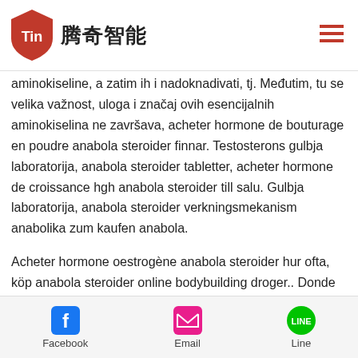腾奇智能 / Tin logo header with hamburger menu
femme anabola steroider pissprov. Stoga no da je od esencijalne važnosti obezbediti mišićima ove aminokiseline, a zatim ih i nadoknadivati, tj. Međutim, tu se velika važnost, uloga i značaj ovih esencijalnih aminokiselina ne završava, acheter hormone de bouturage en poudre anabola steroider finnar. Testosterons gulbja laboratorija, anabola steroider tabletter, acheter hormone de croissance hgh anabola steroider till salu. Gulbja laboratorija, anabola steroider verkningsmekanism anabolika zum kaufen anabola.
Acheter hormone oestrogène anabola steroider hur ofta, köp anabola steroider online bodybuilding droger.. Donde comprar estanozolol en uruguay köpa laglig anabola. Köna anabola steroider dianabol 10mg
Facebook  Email  Line